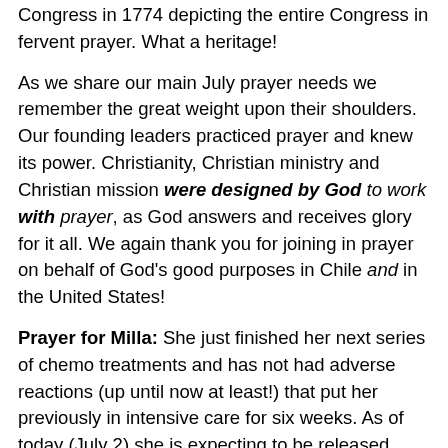Congress in 1774 depicting the entire Congress in fervent prayer.  What a heritage!
As we share our main July prayer needs we remember the great weight upon their shoulders.  Our founding leaders practiced prayer and knew its power.  Christianity, Christian ministry and Christian mission were designed by God to work with prayer, as God answers and receives glory for it all.  We again thank you for joining in prayer on behalf of God's good purposes in Chile and in the United States!
Prayer for Milla:  She just finished her next series of chemo treatments and has not had adverse reactions  (up until now at least!) that put her previously in intensive care for six weeks.  As of today (July 2) she is expecting to be released again around July 4th until her next round of